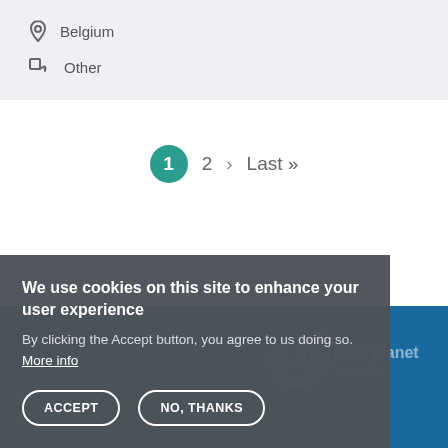Belgium
Other
1  2  >  Last »
We use cookies on this site to enhance your user experience
By clicking the Accept button, you agree to us doing so. More info
ACCEPT
NO, THANKS